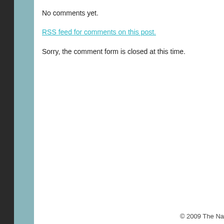No comments yet.
RSS feed for comments on this post.
Sorry, the comment form is closed at this time.
© 2009 The Na